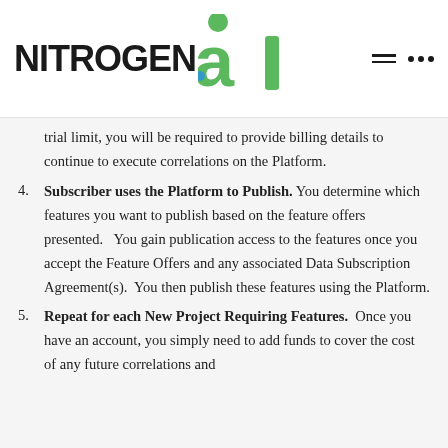[Figure (logo): NITROGEN.ai logo with green stylized 'ai' letters and a green circular figure icon on top]
trial limit, you will be required to provide billing details to continue to execute correlations on the Platform.
4. Subscriber uses the Platform to Publish. You determine which features you want to publish based on the feature offers presented.   You gain publication access to the features once you accept the Feature Offers and any associated Data Subscription Agreement(s).  You then publish these features using the Platform.
5. Repeat for each New Project Requiring Features.  Once you have an account, you simply need to add funds to cover the cost of any future correlations and